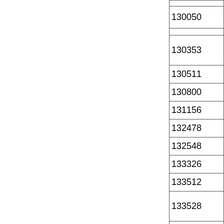|  |
| 130050 |
|  |
| 130353 |
| 130511 |
| 130800 |
| 131156 |
| 132478 |
| 132548 |
| 133326 |
| 133512 |
| 133528 |
|  |
| 133694 |
|  |